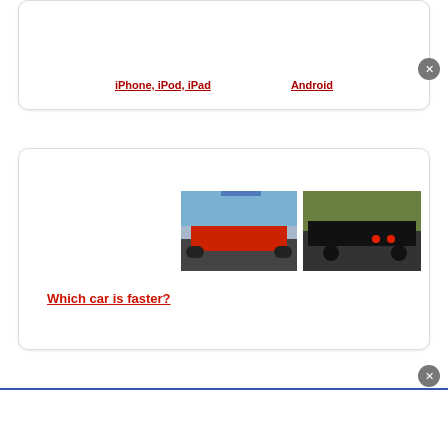[Figure (screenshot): Top card with links: iPhone, iPod, iPad and Android]
iPhone, iPod, iPad    Android
[Figure (photo): Card showing two car photos side by side - red muscle car on drag strip and black sports car on road]
Which car is faster?
[Figure (screenshot): Bottom white banner area]